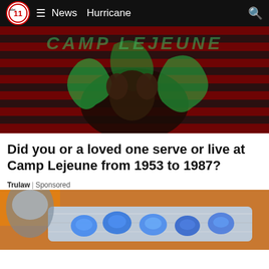abc11  News  Hurricane
[Figure (photo): Hero image showing a person in distress against an American flag background with green liquid splashing, with overlaid stylized text]
Did you or a loved one serve or live at Camp Lejeune from 1953 to 1987?
Trulaw | Sponsored
[Figure (photo): Close-up photo of blue pills in a silver blister pack on a wooden surface]
[Figure (screenshot): Advertisement banner for Nota: 'Book A Demo Today' with an Open button and close button]